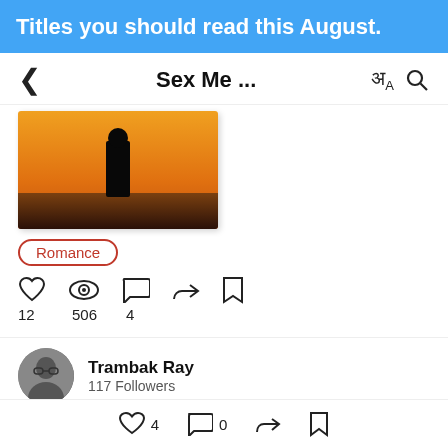Titles you should read this August.
Sex Me ...
[Figure (photo): Book cover showing a silhouette figure against an orange sunset sky with sea in the background]
Romance
12    506    4
Trambak Ray
117 Followers
[Figure (photo): Book cover with ornamental design on aged parchment background]
Dementia
4    0